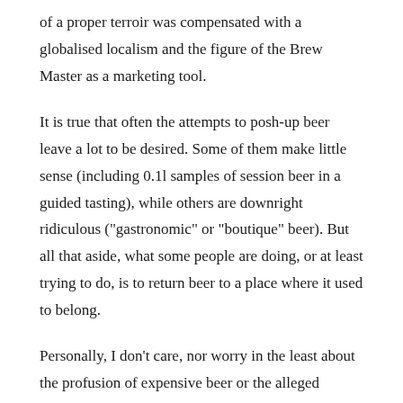of a proper terroir was compensated with a globalised localism and the figure of the Brew Master as a marketing tool.
It is true that often the attempts to posh-up beer leave a lot to be desired. Some of them make little sense (including 0.1l samples of session beer in a guided tasting), while others are downright ridiculous ("gastronomic" or "boutique" beer). But all that aside, what some people are doing, or at least trying to do, is to return beer to a place where it used to belong.
Personally, I don't care, nor worry in the least about the profusion of expensive beer or the alleged bubble around them. On the one hand, because I don't have to buy them, and on the other, because I don't think that with the beer